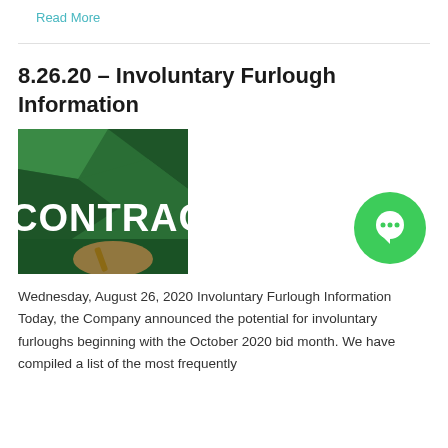Read More
8.26.20 – Involuntary Furlough Information
[Figure (photo): Green background image with white text reading 'CONTRAC' (CONTRACT partially visible), with a hand holding a pen visible at bottom right]
[Figure (other): Green circular chat/message button icon]
Wednesday, August 26, 2020 Involuntary Furlough Information Today, the Company announced the potential for involuntary furloughs beginning with the October 2020 bid month. We have compiled a list of the most frequently